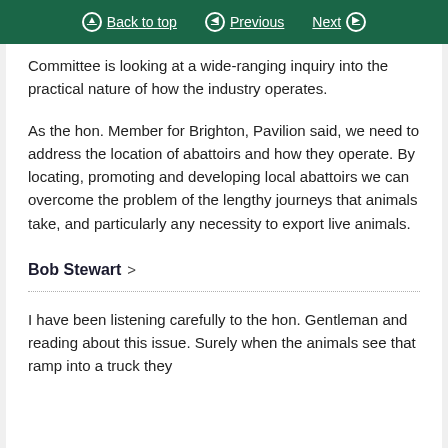Back to top | Previous | Next
Committee is looking at a wide-ranging inquiry into the practical nature of how the industry operates.
As the hon. Member for Brighton, Pavilion said, we need to address the location of abattoirs and how they operate. By locating, promoting and developing local abattoirs we can overcome the problem of the lengthy journeys that animals take, and particularly any necessity to export live animals.
Bob Stewart >
I have been listening carefully to the hon. Gentleman and reading about this issue. Surely when the animals see that ramp into a truck they